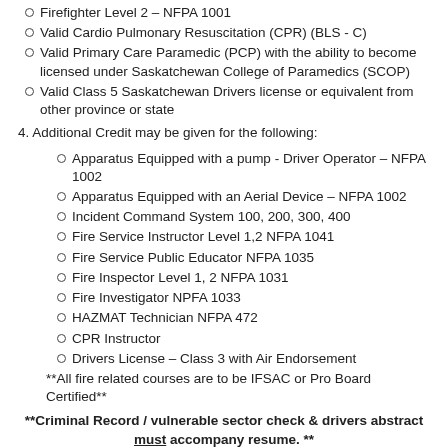Firefighter Level 2 – NFPA 1001
Valid Cardio Pulmonary Resuscitation (CPR) (BLS - C)
Valid Primary Care Paramedic (PCP) with the ability to become licensed under Saskatchewan College of Paramedics (SCOP)
Valid Class 5 Saskatchewan Drivers license or equivalent from other province or state
4. Additional Credit may be given for the following:
Apparatus Equipped with a pump - Driver Operator – NFPA 1002
Apparatus Equipped with an Aerial Device – NFPA 1002
Incident Command System 100, 200, 300, 400
Fire Service Instructor Level 1,2 NFPA 1041
Fire Service Public Educator NFPA 1035
Fire Inspector Level 1, 2 NFPA 1031
Fire Investigator NPFA 1033
HAZMAT Technician NFPA 472
CPR Instructor
Drivers License – Class 3 with Air Endorsement
**All fire related courses are to be IFSAC or Pro Board Certified**
**Criminal Record / vulnerable sector check & drivers abstract must accompany resume. **
5. In addition to providing the above, all candidates must successfully